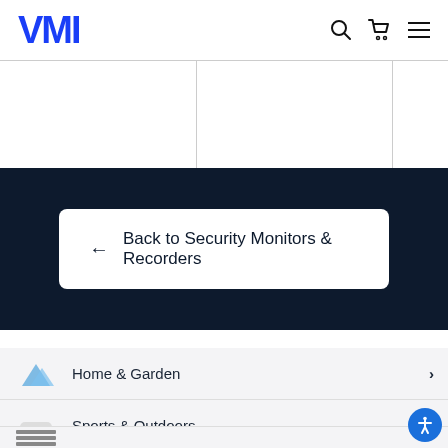VMI
[Figure (screenshot): Partial product grid with empty cells and borders]
[Figure (screenshot): Dark navy banner with white back button reading: ← Back to Security Monitors & Recorders]
Home & Garden
Sports & Outdoors
Furniture
Hobbies & Toys (partially visible)